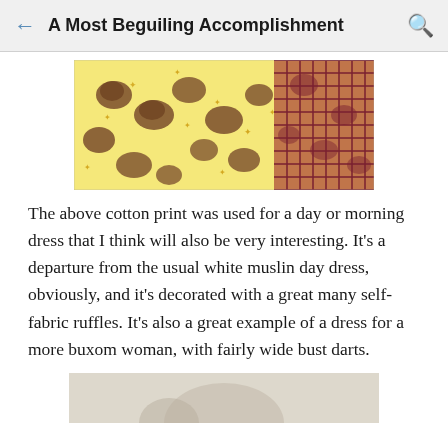A Most Beguiling Accomplishment
[Figure (photo): A patterned cotton fabric print showing floral/star motifs in yellow, brown, and a reddish-purple plaid section on the right.]
The above cotton print was used for a day or morning dress that I think will also be very interesting. It's a departure from the usual white muslin day dress, obviously, and it's decorated with a great many self-fabric ruffles. It's also a great example of a dress for a more buxom woman, with fairly wide bust darts.
[Figure (photo): Bottom of a partially visible image, appears to be a garment or figure.]